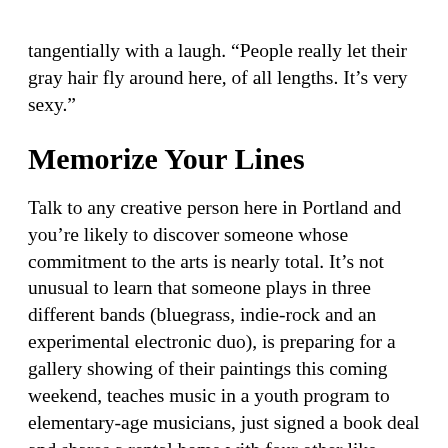tangentially with a laugh. “People really let their gray hair fly around here, of all lengths. It’s very sexy.”
Memorize Your Lines
Talk to any creative person here in Portland and you’re likely to discover someone whose commitment to the arts is nearly total. It’s not unusual to learn that someone plays in three different bands (bluegrass, indie-rock and an experimental electronic duo), is preparing for a gallery showing of their paintings this coming weekend, teaches music in a youth program to elementary-age musicians, just signed a book deal and shares a rental home with four other like-minded zealots.